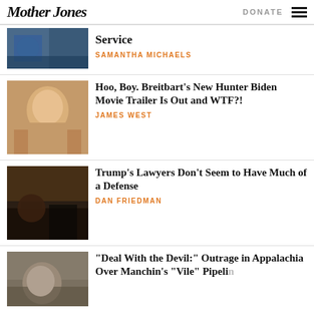Mother Jones | DONATE
Service
SAMANTHA MICHAELS
Hoo, Boy. Breitbart's New Hunter Biden Movie Trailer Is Out and WTF?!
JAMES WEST
Trump's Lawyers Don't Seem to Have Much of a Defense
DAN FRIEDMAN
“Deal With the Devil:” Outrage in Appalachia Over Manchin’s “Vile” Pipeline